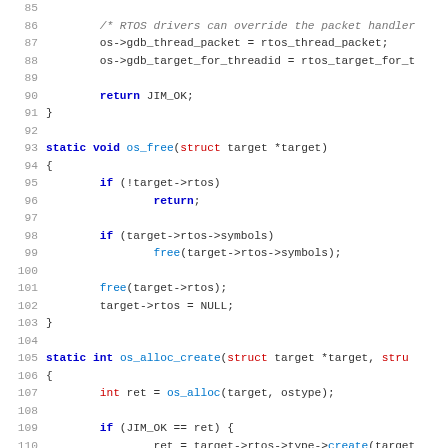[Figure (screenshot): Source code listing in C, lines 85-117, showing RTOS driver functions os_free and os_alloc_create with syntax highlighting. Keywords in blue, types in red, comments in gray italic, function names in blue.]